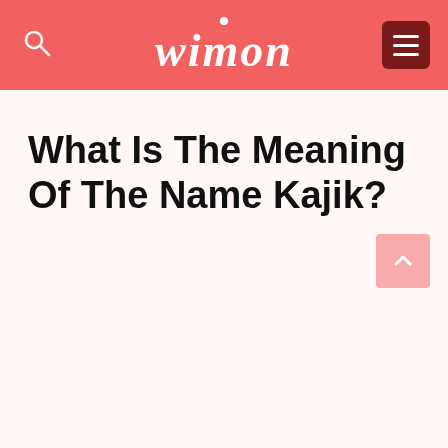wimon
What Is The Meaning Of The Name Kajik?